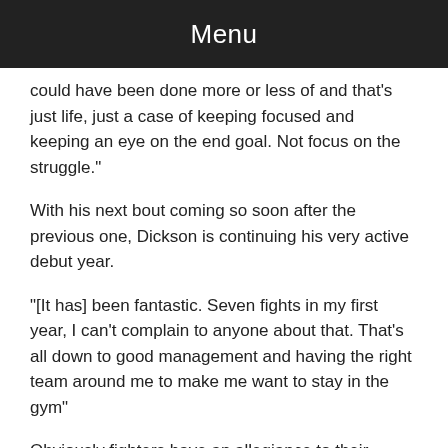Menu
could have been done more or less of and that’s just life, just a case of keeping focused and keeping an eye on the end goal. Not focus on the struggle.”
With his next bout coming so soon after the previous one, Dickson is continuing his very active debut year.
“[It has] been fantastic. Seven fights in my first year, I can’t complain to anyone about that. That’s all down to good management and having the right team around me to make me want to stay in the gym”
Obviously fighters have an allegiance to their teams and handlers but with the MGM Scotland boxers, this seems entirely genuine, and understandably so.
“Mgm Scotland are fantastic, and I think the show they have li...